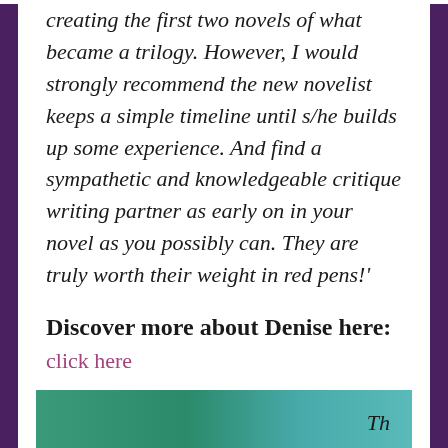creating the first two novels of what became a trilogy. However, I would strongly recommend the new novelist keeps a simple timeline until s/he builds up some experience. And find a sympathetic and knowledgeable critique writing partner as early on in your novel as you possibly can. They are truly worth their weight in red pens!'
Discover more about Denise here:
click here
[Figure (photo): Bottom portion of page showing a teal/green colored image on the left and partial italic text on the right]